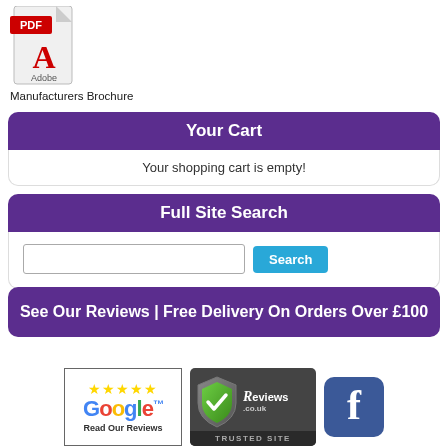[Figure (logo): Adobe PDF icon with red PDF banner and Adobe label below]
Manufacturers Brochure
Your Cart
Your shopping cart is empty!
Full Site Search
[Figure (screenshot): Search input field and Search button]
See Our Reviews | Free Delivery On Orders Over £100
[Figure (logo): Google Reviews badge with 4 stars and 'Read Our Reviews' text]
[Figure (logo): Reviews.co.uk Trusted Site badge with shield]
[Figure (logo): Facebook logo badge (blue with white f)]